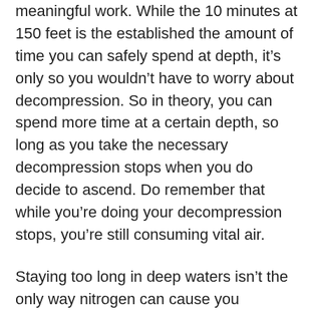meaningful work.  While the 10 minutes at 150 feet is the established the amount of time you can safely spend at depth, it's only so you wouldn't have to worry about decompression.  So in theory, you can spend more time at a certain depth, so long as you take the necessary decompression stops when you do decide to ascend.  Do remember that while you're doing your decompression stops, you're still consuming vital air.
Staying too long in deep waters isn't the only way nitrogen can cause you problems, either.  Another effect nitrogen can have on your body is something known as the bends.  Otherwise known as decompression sickness, whenever someone ascends too quickly, the nitrogen that's built up in your bloodstream forms bubbles, which can then